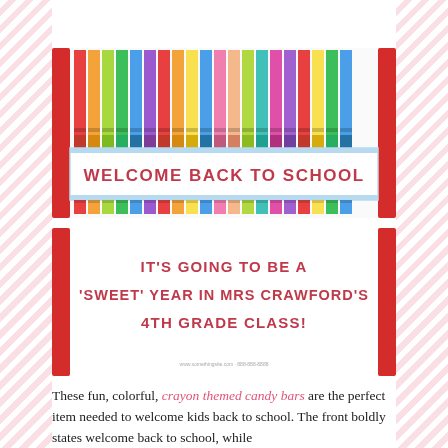[Figure (illustration): Two candy bar wrapper illustrations with crayon theme. Top wrapper shows colorful crayons across the top half and text 'WELCOME BACK TO SCHOOL' in the lower half. Bottom wrapper shows text: IT'S GOING TO BE A 'SWEET' YEAR IN MRS CRAWFORD'S 4TH GRADE CLASS!]
These fun, colorful, crayon themed candy bars are the perfect item needed to welcome kids back to school. The front boldly states welcome back to school, while